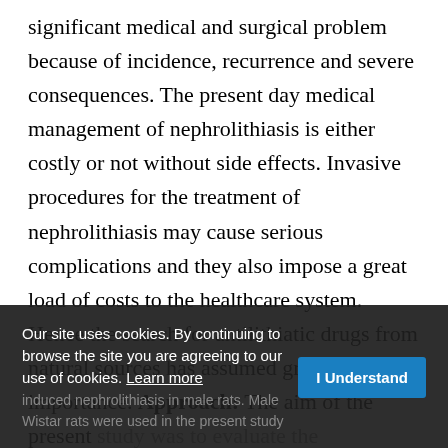significant medical and surgical problem because of incidence, recurrence and severe consequences. The present day medical management of nephrolithiasis is either costly or not without side effects. Invasive procedures for the treatment of nephrolithiasis may cause serious complications and they also impose a great load of costs to the healthcare system. Hence the search for antilithiatic drugs from natural sources has assumed greater importance. Approach: The aim of the present study was to evaluate the antilithiatic activity of induced nephrolithiasis in male rats. Male Wistar rats were used in the present study
Our site uses cookies. By continuing to browse the site you are agreeing to our use of cookies. Learn more